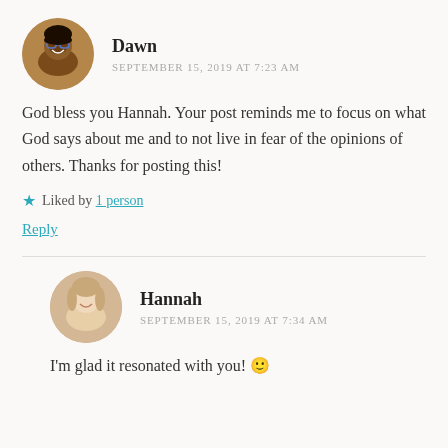[Figure (photo): Circular avatar photo of Dawn, a woman wearing glasses, smiling.]
Dawn
SEPTEMBER 15, 2019 AT 7:23 AM
God bless you Hannah. Your post reminds me to focus on what God says about me and to not live in fear of the opinions of others. Thanks for posting this!
★ Liked by 1 person
Reply
[Figure (photo): Circular avatar photo of Hannah, a young woman with light hair, smiling.]
Hannah
SEPTEMBER 15, 2019 AT 7:34 AM
I'm glad it resonated with you! 🙂